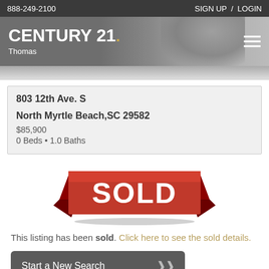888-249-2100  SIGN UP / LOGIN
[Figure (logo): Century 21 Thomas real estate logo with hamburger menu on dark gray header with background photo of person]
[Figure (photo): Grayscale partial photo strip of a person]
803 12th Ave. S
North Myrtle Beach,SC 29582
$85,900
0 Beds • 1.0 Baths
[Figure (illustration): Red ribbon SOLD banner graphic with white bold text SOLD]
This listing has been sold. Click here to see the sold details.
Start a New Search